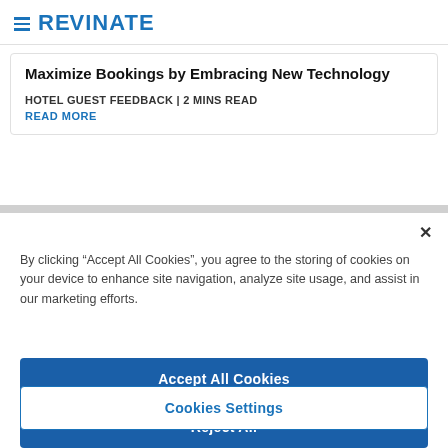[Figure (logo): Revinate logo with hamburger menu icon and blue REVINATE text]
Maximize Bookings by Embracing New Technology
HOTEL GUEST FEEDBACK | 2 MINS READ
READ MORE
By clicking “Accept All Cookies”, you agree to the storing of cookies on your device to enhance site navigation, analyze site usage, and assist in our marketing efforts.
Accept All Cookies
Reject All
Cookies Settings